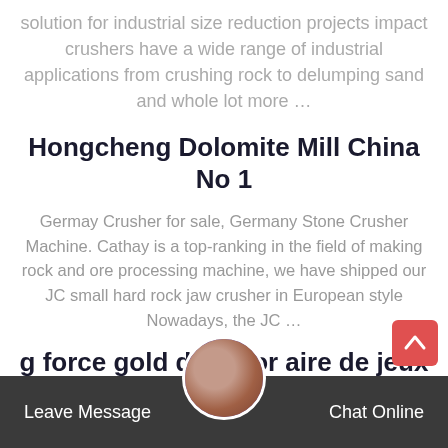solution for industrial size reduction projects impact crushers have a wide range of industrial applications from crushing rock to delumping sand and whole lot more …
Hongcheng Dolomite Mill China No 1
Germay Crusher for sale, Germany Stone Crusher Machine. Cathay is a top-ranking in the field of making rock and ore processing machine, we have shipped our JC small hard rock jaw crusher in European style Nowadays, the JC …
g force gold detector aire de jeux king leo fr
Sri lankan idiyappam machine sell Products. As a lead global manufacturer of crushing, grinding and mining equipments, we offer advanced reasonable solutions for any